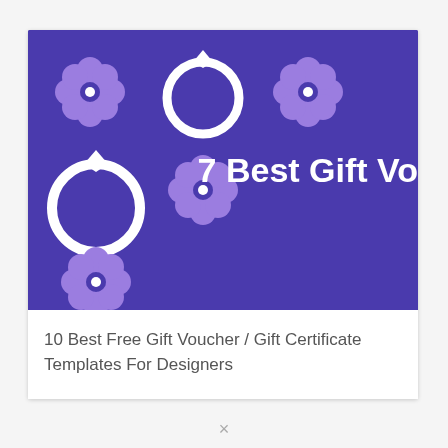[Figure (illustration): Purple/indigo banner with decorative flower/clover icons in lighter purple, two white ring icons, and bold white text reading '7 Best Gift Vo' (cropped)]
10 Best Free Gift Voucher / Gift Certificate Templates For Designers